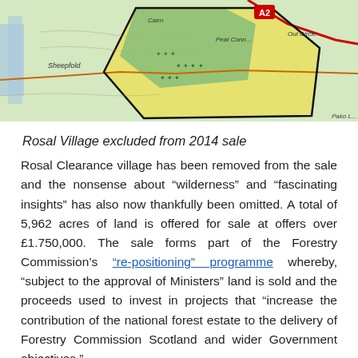[Figure (map): Topographic map showing Rosal area with green and yellow shaded regions indicating forest land for sale, road A2 visible, features including Sheepfold and Cairn marked.]
Rosal Village excluded from 2014 sale
Rosal Clearance village has been removed from the sale and the nonsense about “wilderness” and “fascinating insights” has also now thankfully been omitted. A total of 5,962 acres of land is offered for sale at offers over £1.750,000. The sale forms part of the Forestry Commission’s “re-positioning” programme whereby, “subject to the approval of Ministers” land is sold and the proceeds used to invest in projects that “increase the contribution of the national forest estate to the delivery of Forestry Commission Scotland and wider Government objectives.”
Whilst this development is welcome, wider questions remain about the elite interests that continue to dominate private forestry in Scotland (see e.g. here and here plus a research